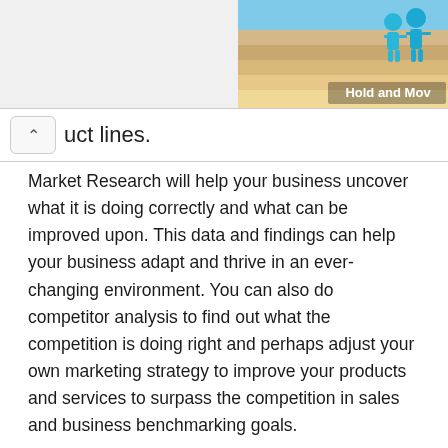[Figure (illustration): Partial screenshot of an e-learning interface showing a banner image with blue figures (Hold and Move) on a sandy/striped background]
uct lines.
Market Research will help your business uncover what it is doing correctly and what can be improved upon. This data and findings can help your business adapt and thrive in an ever-changing environment. You can also do competitor analysis to find out what the competition is doing right and perhaps adjust your own marketing strategy to improve your products and services to surpass the competition in sales and business benchmarking goals.
It also helps your business to focus on the needs and requirements of your customers. Market research allows